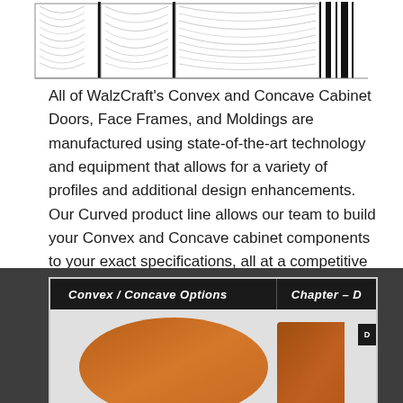[Figure (illustration): Product illustration showing curved cabinet door panels with black vertical dividers on white background]
All of WalzCraft's Convex and Concave Cabinet Doors, Face Frames, and Moldings are manufactured using state-of-the-art technology and equipment that allows for a variety of profiles and additional design enhancements. Our Curved product line allows our team to build your Convex and Concave cabinet components to your exact specifications, all at a competitive price.
[Figure (screenshot): Screenshot of a product catalog page with dark background showing 'Convex / Concave Options  Chapter – D' header and orange curved cabinet door images inside the catalog]